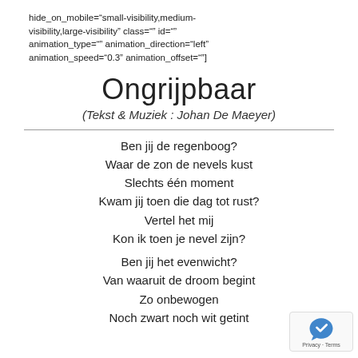hide_on_mobile="small-visibility,medium-visibility,large-visibility" class="" id="" animation_type="" animation_direction="left" animation_speed="0.3" animation_offset=""]
Ongrijpbaar
(Tekst & Muziek : Johan De Maeyer)
Ben jij de regenboog?
Waar de zon de nevels kust
Slechts één moment
Kwam jij toen die dag tot rust?
Vertel het mij
Kon ik toen je nevel zijn?
Ben jij het evenwicht?
Van waaruit de droom begint
Zo onbewogen
Noch zwart noch wit getint